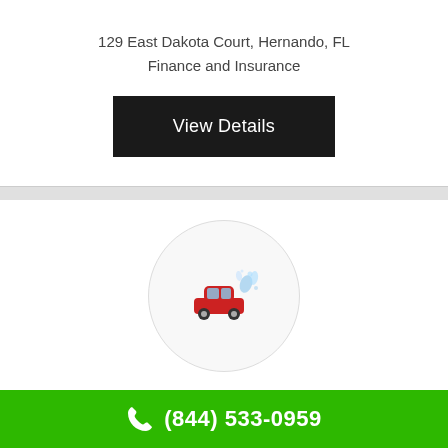129 East Dakota Court, Hernando, FL
Finance and Insurance
View Details
[Figure (logo): Circular logo with a red car and water splash illustration on light gray background]
Sophisticated Sedan Service
(844) 533-0959